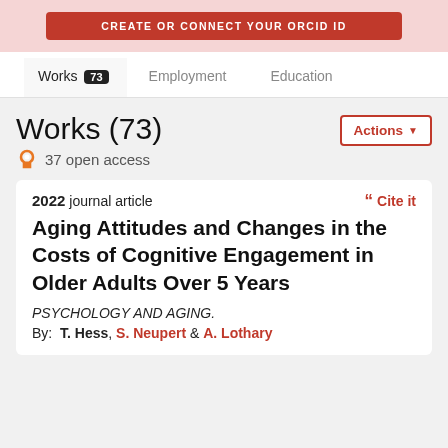[Figure (screenshot): Red button banner at top of page, partially cropped]
Works 73  Employment  Education
Works (73)
37 open access
2022 journal article
Cite it
Aging Attitudes and Changes in the Costs of Cognitive Engagement in Older Adults Over 5 Years
PSYCHOLOGY AND AGING.
By: T. Hess, S. Neupert & A. Lothary